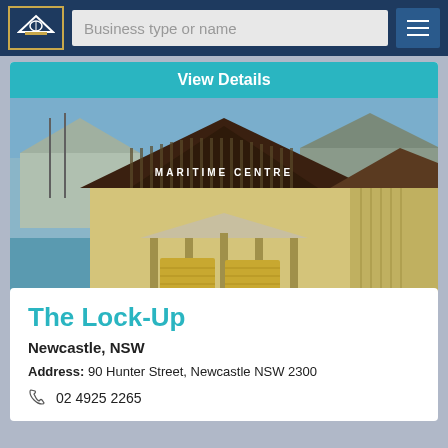Business type or name
View Details
[Figure (photo): Photograph of the Maritime Centre building in Newcastle, NSW. A large wooden building with a peaked roof and 'MARITIME CENTRE' lettering, situated on a waterfront with water and other structures visible in the background.]
The Lock-Up
Newcastle, NSW
Address: 90 Hunter Street, Newcastle NSW 2300
02 4925 2265